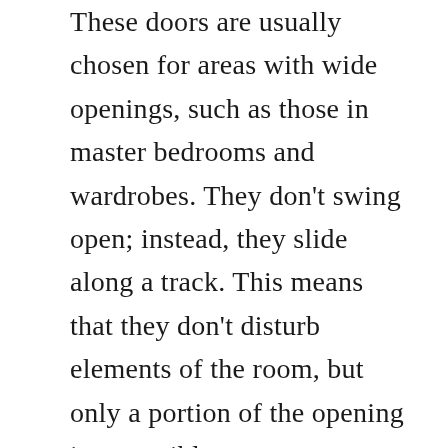These doors are usually chosen for areas with wide openings, such as those in master bedrooms and wardrobes. They don't swing open; instead, they slide along a track. This means that they don't disturb elements of the room, but only a portion of the opening is accessible.